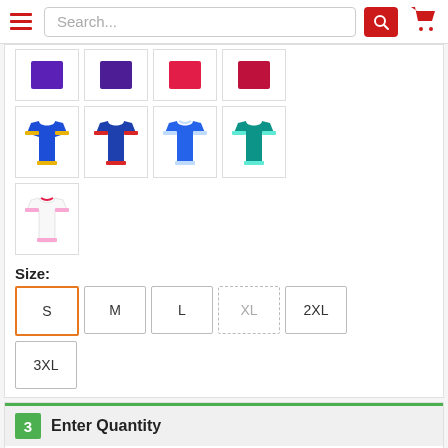Search...
[Figure (screenshot): Grid of color/style thumbnail images for t-shirts: top row shows purple and red color swatches; second row shows blue t-shirts with yellow trim, blue with red trim, plain blue, and teal; third row shows white t-shirt with red/pink trim]
Size:
S  M  L  XL  2XL  3XL
3  Enter Quantity
Quantity: 13   Price: $7.73 ea X 13 qty = $100.49
43 In Stock